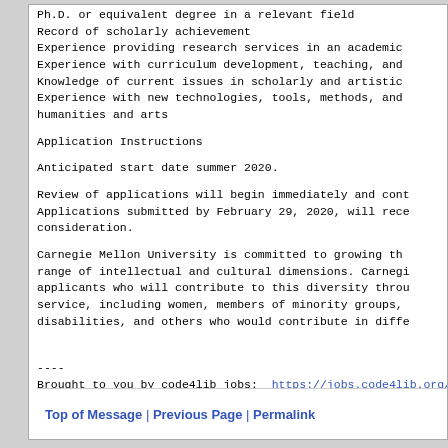Ph.D. or equivalent degree in a relevant field
Record of scholarly achievement
Experience providing research services in an academic
Experience with curriculum development, teaching, and
Knowledge of current issues in scholarly and artistic
Experience with new technologies, tools, methods, and humanities and arts
Application Instructions
Anticipated start date summer 2020.
Review of applications will begin immediately and cont
Applications submitted by February 29, 2020, will rece
consideration.
Carnegie Mellon University is committed to growing th
range of intellectual and cultural dimensions. Carneg
applicants who will contribute to this diversity throu
service, including women, members of minority groups,
disabilities, and others who would contribute in diffe
----
Brought to you by code4lib jobs:  https://jobs.code4lib.org/job...
information-scientist
Top of Message | Previous Page | Permalink